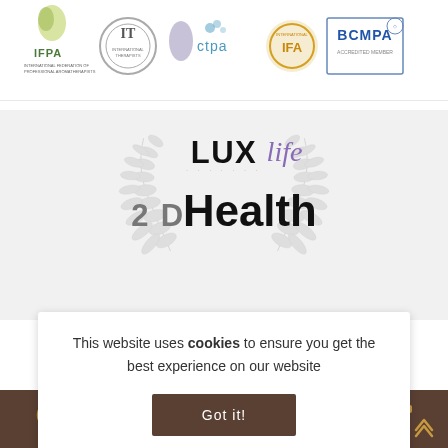[Figure (logo): Row of certification/association logos: IFPA, IT (circular seal), leaf logo, ctpa, IFA, BCMPA Accredited Member]
[Figure (logo): LUXlife magazine logo with laurel wreath decoration and partially visible text 'Health' below]
This website uses cookies to ensure you get the best experience on our website
[Figure (other): Got it! button - dark brown rectangular button]
[Figure (other): Bottom dark brown toolbar with gold icons: search, envelope, phone, tag/discount, heart, gift/card, shopping cart, arrow up]